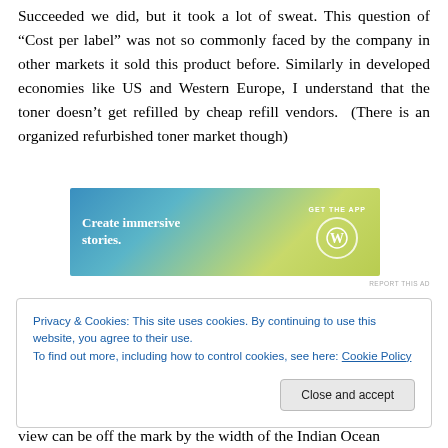Succeeded we did, but it took a lot of sweat. This question of “Cost per label” was not so commonly faced by the company in other markets it sold this product before. Similarly in developed economies like US and Western Europe, I understand that the toner doesn’t get refilled by cheap refill vendors. (There is an organized refurbished toner market though)
[Figure (other): WordPress advertisement banner with gradient background (blue to yellow-green). Left side shows text 'Create immersive stories.' Right side shows 'GET THE APP' with WordPress logo circle.]
REPORT THIS AD
Privacy & Cookies: This site uses cookies. By continuing to use this website, you agree to their use.
To find out more, including how to control cookies, see here: Cookie Policy
[Close and accept button]
view can be off the mark by the width of the Indian Ocean